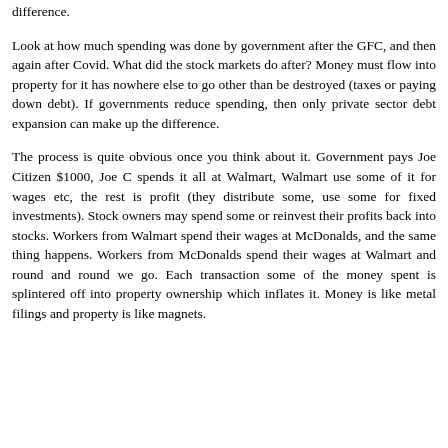difference.
Look at how much spending was done by government after the GFC, and then again after Covid. What did the stock markets do after? Money must flow into property for it has nowhere else to go other than be destroyed (taxes or paying down debt). If governments reduce spending, then only private sector debt expansion can make up the difference.
The process is quite obvious once you think about it. Government pays Joe Citizen $1000, Joe C spends it all at Walmart, Walmart use some of it for wages etc, the rest is profit (they distribute some, use some for fixed investments). Stock owners may spend some or reinvest their profits back into stocks. Workers from Walmart spend their wages at McDonalds, and the same thing happens. Workers from McDonalds spend their wages at Walmart and round and round we go. Each transaction some of the money spent is splintered off into property ownership which inflates it. Money is like metal filings and property is like magnets.